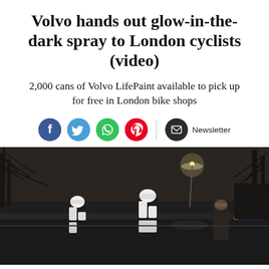Volvo hands out glow-in-the-dark spray to London cyclists (video)
2,000 cans of Volvo LifePaint available to pick up for free in London bike shops
[Figure (infographic): Social sharing icons: Facebook (blue circle), Twitter (blue circle), WhatsApp (green circle), Pinterest (red circle), separator line, Email/Newsletter (dark circle with envelope icon) and 'Newsletter' label]
[Figure (photo): Night scene showing cyclists on a city street. Three cyclists visible with reflective gear glowing in the dark, including helmets; bare winter trees and street lights in the background. Dark, moody atmosphere.]